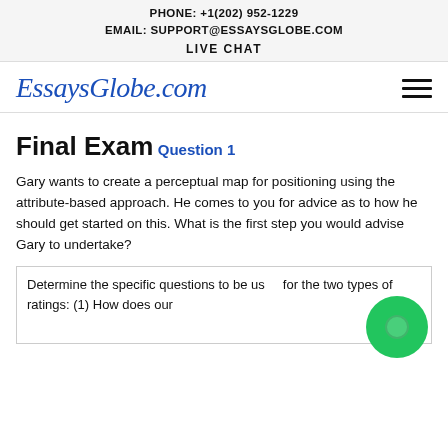PHONE: +1(202) 952-1229
EMAIL: SUPPORT@ESSAYSGLOBE.COM
LIVE CHAT
[Figure (logo): EssaysGlobe.com logo in blue italic serif font with hamburger menu icon]
Final Exam
Question 1
Gary wants to create a perceptual map for positioning using the attribute-based approach. He comes to you for advice as to how he should get started on this. What is the first step you would advise Gary to undertake?
Determine the specific questions to be used for the two types of ratings: (1) How does our